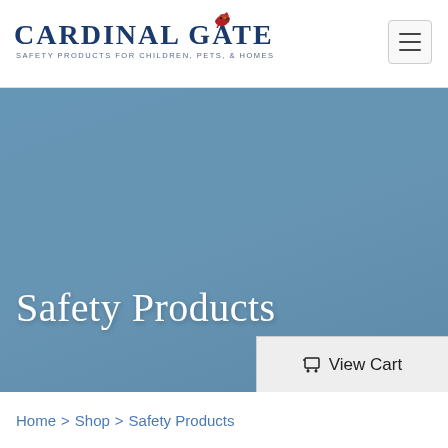Cardinal Gates — Safety Products for Children, Pets, & Homes
[Figure (logo): Cardinal Gates logo with red cardinal bird silhouette above the 'T', company name in navy serif font, tagline 'Safety Products for Children, Pets, & Homes' in small sans-serif letters]
Safety Products
View Cart
Home > Shop > Safety Products